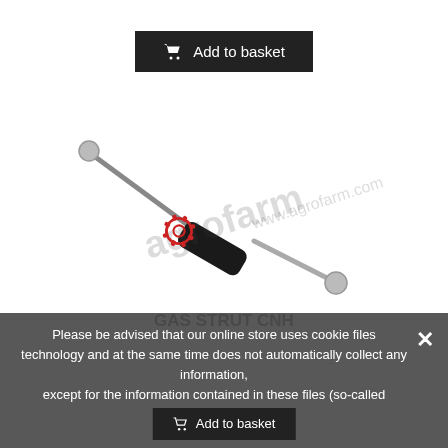[Figure (other): Add to basket button with shopping cart icon on dark background]
[Figure (photo): A gas strut CNH product photo with agrofarm.com watermark logo overlaid. The strut is a cylindrical black metal component with ball joints at each end, crossed diagonally.]
GAS STRUT CNH
Please be advised that our online store uses cookie files technology and at the same time does not automatically collect any information, except for the information contained in these files (so-called "cookies").